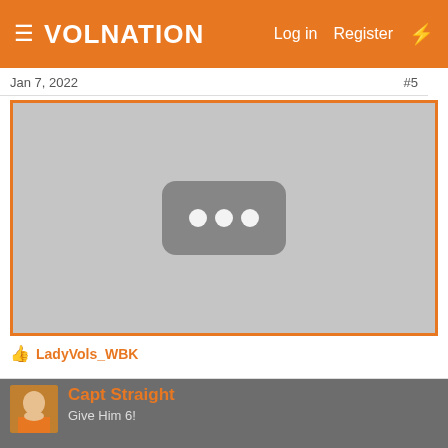VolNation — Log in   Register   ⚡
Jan 7, 2022
#5
[Figure (screenshot): Embedded video thumbnail placeholder showing a grey rectangle with a rounded-corner play indicator containing three white dots, on a light grey background with an orange border.]
👍 LadyVols_WBK
Capt Straight
Give Him 6!